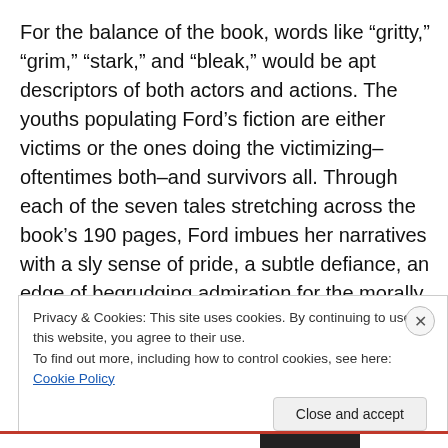For the balance of the book, words like “gritty,” “grim,” “stark,” and “bleak,” would be apt descriptors of both actors and actions. The youths populating Ford’s fiction are either victims or the ones doing the victimizing–oftentimes both–and survivors all. Through each of the seven tales stretching across the book’s 190 pages, Ford imbues her narratives with a sly sense of pride, a subtle defiance, an edge of begrudging admiration for the morally
Privacy & Cookies: This site uses cookies. By continuing to use this website, you agree to their use.
To find out more, including how to control cookies, see here: Cookie Policy